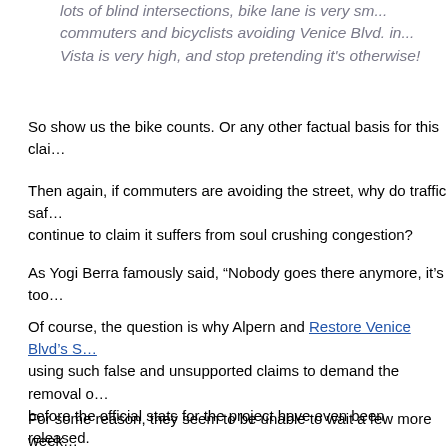lots of blind intersections, bike lane is very sma... commuters and bicyclists avoiding Venice Blvd. in... Vista is very high, and stop pretending it's otherwise!
So show us the bike counts. Or any other factual basis for this claim.
Then again, if commuters are avoiding the street, why do traffic safety advocates continue to claim it suffers from soul crushing congestion?
As Yogi Berra famously said, “Nobody goes there anymore, it’s too crowded.”
Of course, the question is why Alpern and Restore Venice Blvd’s Streets are using such false and unsupported claims to demand the removal of the bike lanes before the official stats for the project have even been released.
For some reason, they seem to be unable to wait a few more weeks for data to be compiled.
Possibly because they suspect the real statistics won’t support their claims, and want to poison the waters before LADOT can tell us what’s really going on.
So let me be clear.